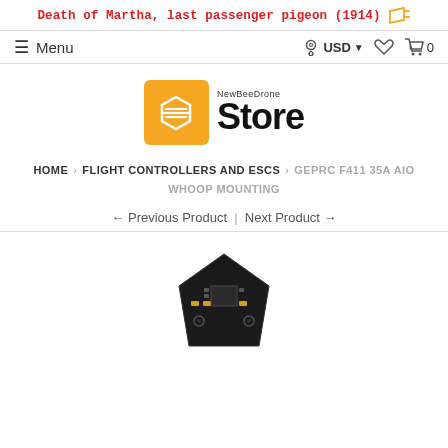Death of Martha, last passenger pigeon (1914)
[Figure (logo): NewBeeDrone Store logo — orange square with white hexagon/bee icon, text 'NewBeeDrone Store' in black]
HOME › FLIGHT CONTROLLERS AND ESCS › GEPRC F411 35A AIO WHOOP MOUNTING
← Previous Product  |  Next Product →
[Figure (photo): Product photo — GEPRC F411 35A AIO Whoop Mounting flight controller board, partially visible at bottom]